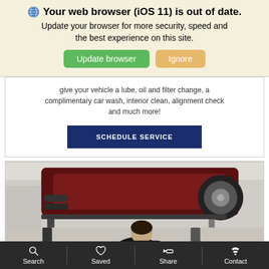[Figure (screenshot): Browser update notification banner with globe icon, bold text 'Your web browser (iOS 11) is out of date.' and subtitle 'Update your browser for more security, speed and the best experience on this site.' with green 'Update browser' and tan 'Ignore' buttons, on a cream background.]
give your vehicle a lube, oil and filter change, a complimentary car wash, interior clean, alignment check and much more!
[Figure (other): Dark blue 'SCHEDULE SERVICE' button]
[Figure (photo): A mechanic sitting at a laptop in front of a dark red vehicle elevated on a lift in a car service garage.]
Search  Saved  Share  Contact